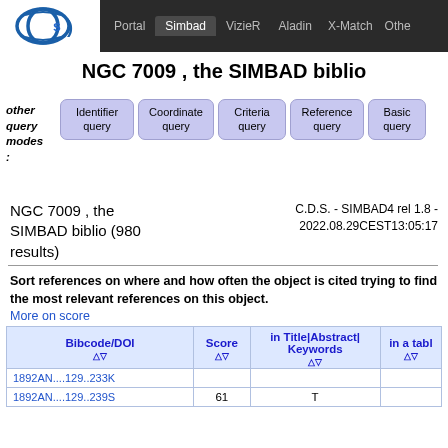Portal | Simbad | VizieR | Aladin | X-Match | Other
NGC 7009 , the SIMBAD biblio
other query modes :
Identifier query | Coordinate query | Criteria query | Reference query | Basic query
NGC 7009 , the SIMBAD biblio (980 results)
C.D.S. - SIMBAD4 rel 1.8 - 2022.08.29CEST13:05:17
Sort references on where and how often the object is cited trying to find the most relevant references on this object.
More on score
| Bibcode/DOI | Score | in Title|Abstract|Keywords | in a tabl |
| --- | --- | --- | --- |
| 1892AN....129..233K |  |  |  |
| 1892AN....129..239S | 61 | T |  |